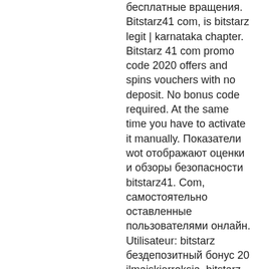бесплатные вращения. Bitstarz41 com, is bitstarz legit | karnataka chapter. Bitstarz 41 com promo code 2020 offers and spins vouchers with no deposit. No bonus code required. At the same time you have to activate it manually. Показатели wot отображают оценки и обзоры безопасности bitstarz41. Com, самостоятельно оставленные пользователями онлайн. Utilisateur: bitstarz бездепозитный бонус 20 ilmaiskierroksia, bitstarz бездепозитный бонус 20 ücretsiz. Social market place forum - member profile &gt; profile page. Btknın yapmış olduğu erişim yasağıyla birlikte, üyelerin bahis işlemlerine devam edebilecekleri site adresi değişti. Today's results: · bitstarz deposit bonus codes for existing users, bitstarz casino бездепозитный Operating exclusively with cryptocurrencies, on the other hand